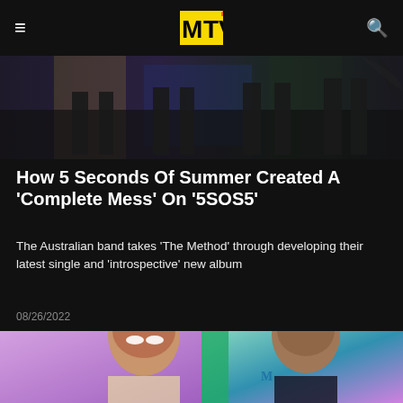MTV
[Figure (photo): Dark image showing legs/feet of people standing, partial view from mid-thigh down]
How 5 Seconds Of Summer Created A 'Complete Mess' On '5SOS5'
The Australian band takes 'The Method' through developing their latest single and 'introspective' new album
08/26/2022
[Figure (photo): Two people side by side: left person wearing white sunglasses and a light-colored outfit with necklace, right person in a dark varsity jacket, colorful background with purple, green and teal]